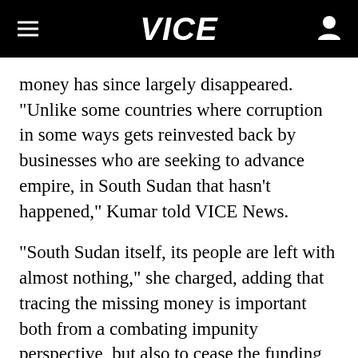VICE
money has since largely disappeared. "Unlike some countries where corruption in some ways gets reinvested back by businesses who are seeking to advance empire, in South Sudan that hasn't happened," Kumar told VICE News.
"South Sudan itself, its people are left with almost nothing," she charged, adding that tracing the missing money is important both from a combating impunity perspective, but also to cease the funding still fueling the warring parties.